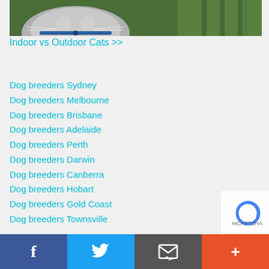[Figure (photo): Partial photo of a cat with green foliage in the background, bottom portion visible showing cat face and collar]
Indoor vs Outdoor Cats >>
Dog breeders Sydney
Dog breeders Melbourne
Dog breeders Brisbane
Dog breeders Adelaide
Dog breeders Perth
Dog breeders Darwin
Dog breeders Canberra
Dog breeders Hobart
Dog breeders Gold Coast
Dog breeders Townsville
Dog breeders New South Wales NSW
Facebook | Twitter | Email | Plus social bar